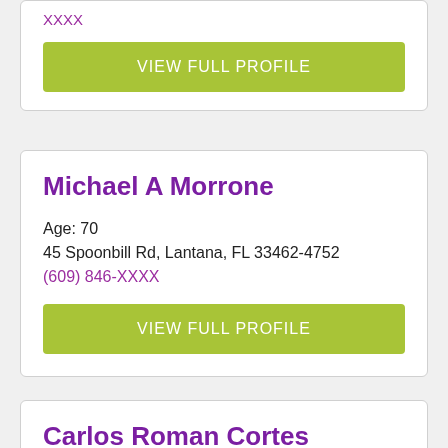XXXX
VIEW FULL PROFILE
Michael A Morrone
Age: 70
45 Spoonbill Rd, Lantana, FL 33462-4752
(609) 846-XXXX
VIEW FULL PROFILE
Carlos Roman Cortes